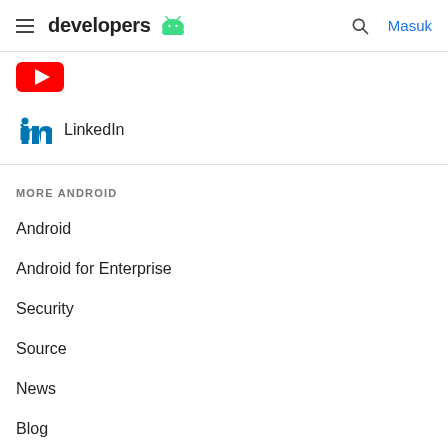developers [Android logo] [search] Masuk
[Figure (logo): YouTube logo (red rectangle, partially visible)]
LinkedIn
MORE ANDROID
Android
Android for Enterprise
Security
Source
News
Blog
Podcasts
DISCOVER